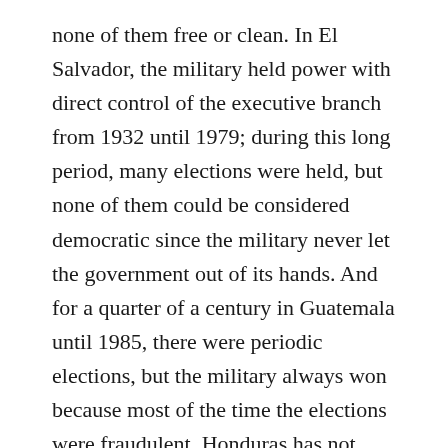none of them free or clean. In El Salvador, the military held power with direct control of the executive branch from 1932 until 1979; during this long period, many elections were held, but none of them could be considered democratic since the military never let the government out of its hands. And for a quarter of a century in Guatemala until 1985, there were periodic elections, but the military always won because most of the time the elections were fraudulent. Honduras has not been subject to as much military control, but it was only in 1980 that its traditional two-party system was reinstated. Only Costa Rica has held free and